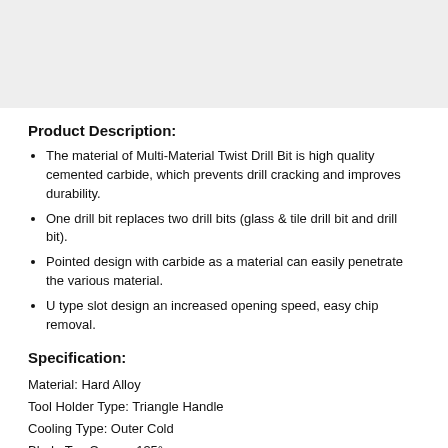[Figure (photo): Product image placeholder (grey rectangle)]
Product Description:
The material of Multi-Material Twist Drill Bit is high quality cemented carbide, which prevents drill cracking and improves durability.
One drill bit replaces two drill bits (glass & tile drill bit and drill bit).
Pointed design with carbide as a material can easily penetrate the various material.
U type slot design an increased opening speed, easy chip removal.
Specification:
Material: Hard Alloy
Tool Holder Type: Triangle Handle
Cooling Type: Outer Cold
Blade Top Corner: 135°
Category: Hole expansion drill